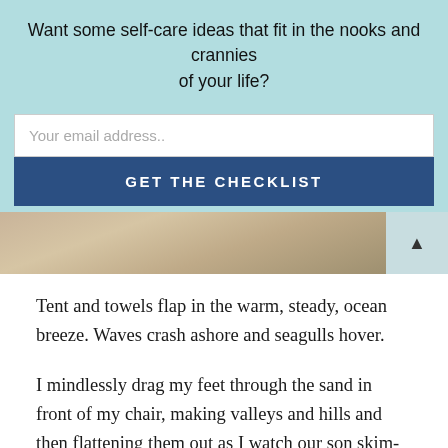Want some self-care ideas that fit in the nooks and crannies of your life?
Your email address..
GET THE CHECKLIST
[Figure (photo): Beach scene with sand, showing what appears to be a towel or beach items in warm sandy tones.]
Tent and towels flap in the warm, steady, ocean breeze. Waves crash ashore and seagulls hover.
I mindlessly drag my feet through the sand in front of my chair, making valleys and hills and then flattening them out as I watch our son skim-boarding in the shallow water of low